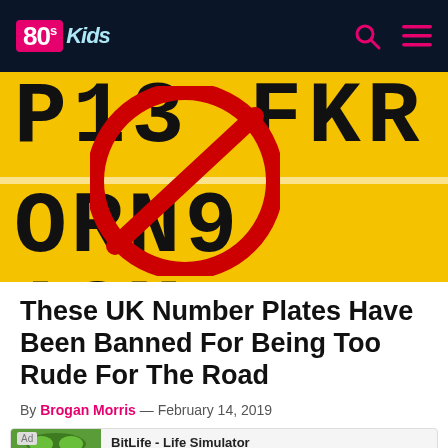80s Kids
[Figure (photo): UK number plate with yellow background showing letters P13 FKR on top and ORN9 ASM on bottom, overlaid with a red no-entry/ban circle-slash symbol]
These UK Number Plates Have Been Banned For Being Too Rude For The Road
By Brogan Morris — February 14, 2019
[Figure (screenshot): Mobile advertisement for BitLife - Life Simulator app with Install button]